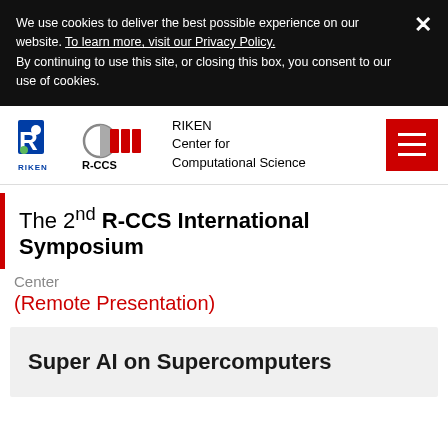We use cookies to deliver the best possible experience on our website. To learn more, visit our Privacy Policy. By continuing to use this site, or closing this box, you consent to our use of cookies.
[Figure (logo): RIKEN and R-CCS logos with text: RIKEN Center for Computational Science]
The 2nd R-CCS International Symposium
Center
(Remote Presentation)
Super AI on Supercomputers